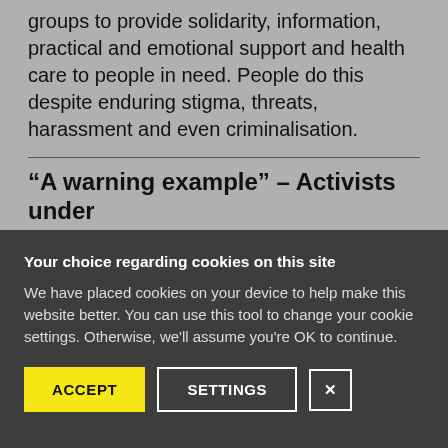groups to provide solidarity, information, practical and emotional support and health care to people in need. People do this despite enduring stigma, threats, harassment and even criminalisation.
“A warning example” – Activists under
Your choice regarding cookies on this site
We have placed cookies on your device to help make this website better. You can use this tool to change your cookie settings. Otherwise, we'll assume you're OK to continue.